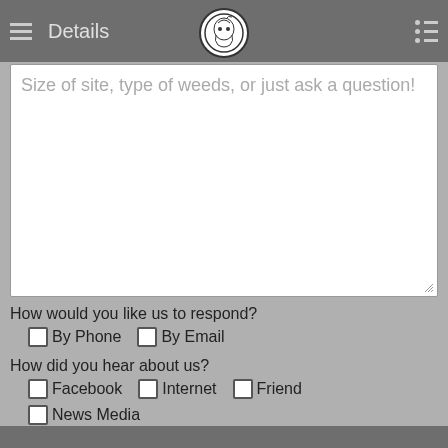Details
Size of site, type of weeds, or just ask a question!
How would you like us to respond?
By Phone
By Email
How did you hear about us?
Facebook
Internet
Friend
News Media
YouTube
Kickstarter
Other
Send